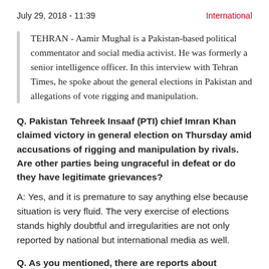July 29, 2018 - 11:39    International
TEHRAN - Aamir Mughal is a Pakistan-based political commentator and social media activist. He was formerly a senior intelligence officer. In this interview with Tehran Times, he spoke about the general elections in Pakistan and allegations of vote rigging and manipulation.
Q. Pakistan Tehreek Insaaf (PTI) chief Imran Khan claimed victory in general election on Thursday amid accusations of rigging and manipulation by rivals. Are other parties being ungraceful in defeat or do they have legitimate grievances?
A: Yes, and it is premature to say anything else because situation is very fluid. The very exercise of elections stands highly doubtful and irregularities are not only reported by national but international media as well.
Q. As you mentioned, there are reports about irregularities. PMl-N, the ruling body of PTI, at this election, have elected the...